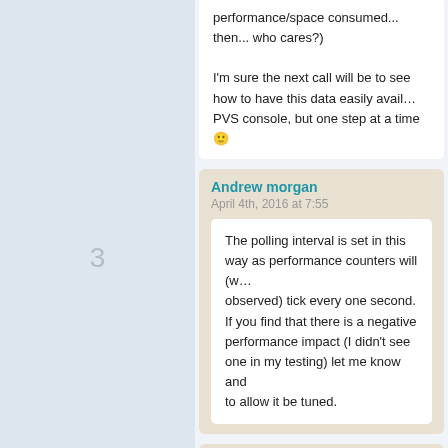performance/space consumed... then... who cares?)

I'm sure the next call will be to see how to have this data easily available in the PVS console, but one step at a time 🙂
Andrew morgan
April 4th, 2016 at 7:55
The polling interval is set in this way as performance counters will (when observed) tick every one second. If you find that there is a negative performance impact (I didn't see one in my testing) let me know and I'll try to allow it be tuned.
Joe
April 8th, 2016 at 15:18
Hi ! On https://www.remkoweijnen.nl/blog/contact/ i get this message: Form Shortcode Error: Form 1 does not exist.

Great idea with Citrix PVS RAM cache size Performance Counters. After installing, adding reg-keys and starting the service PVS Memory app shows performance counters but PVS Memory Usage is at 0,000. Do have a